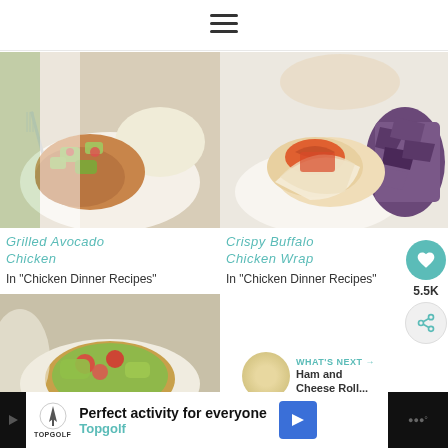[Figure (illustration): Hamburger menu icon (three horizontal lines)]
[Figure (photo): Grilled chicken with avocado salsa on a white plate with rice and a fork]
[Figure (photo): Crispy buffalo chicken wrap cut in half on a plate with purple/blue tortilla chips]
Grilled Avocado Chicken
In "Chicken Dinner Recipes"
Crispy Buffalo Chicken Wrap
In "Chicken Dinner Recipes"
[Figure (illustration): Heart/like button (teal circle with white heart icon)]
5.5K
[Figure (illustration): Share button (circular with share icon)]
[Figure (photo): Third food photo partially visible - appears to be a Mexican/Tex-Mex dish with guacamole and tomatoes]
WHAT'S NEXT → Ham and Cheese Roll...
Perfect activity for everyone  Topgolf